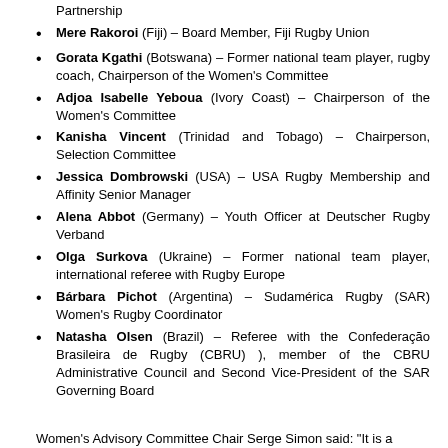Partnership
Mere Rakoroi (Fiji) – Board Member, Fiji Rugby Union
Gorata Kgathi (Botswana) – Former national team player, rugby coach, Chairperson of the Women's Committee
Adjoa Isabelle Yeboua (Ivory Coast) – Chairperson of the Women's Committee
Kanisha Vincent (Trinidad and Tobago) – Chairperson, Selection Committee
Jessica Dombrowski (USA) – USA Rugby Membership and Affinity Senior Manager
Alena Abbot (Germany) – Youth Officer at Deutscher Rugby Verband
Olga Surkova (Ukraine) – Former national team player, international referee with Rugby Europe
Bárbara Pichot (Argentina) – Sudamérica Rugby (SAR) Women's Rugby Coordinator
Natasha Olsen (Brazil) – Referee with the Confederação Brasileira de Rugby (CBRU) ), member of the CBRU Administrative Council and Second Vice-President of the SAR Governing Board
Women's Advisory Committee Chair Serge Simon said: "It is a